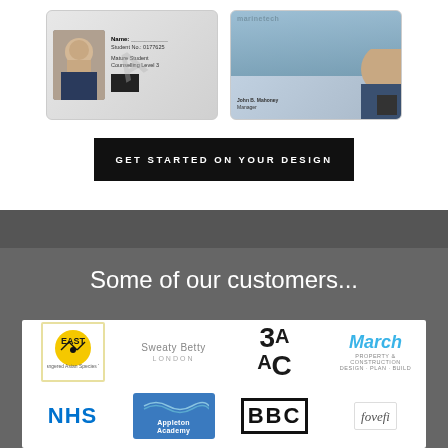[Figure (illustration): Two sample ID cards side by side: a student ID and a marinetech employee ID card]
GET STARTED ON YOUR DESIGN
Some of our customers...
[Figure (logo): Customer logos grid: EAST (Endangered Asian Species Trust), Sweaty Betty London, 3A AC, March Property & Construction, NHS, Appleton Academy, BBC, fovefi]